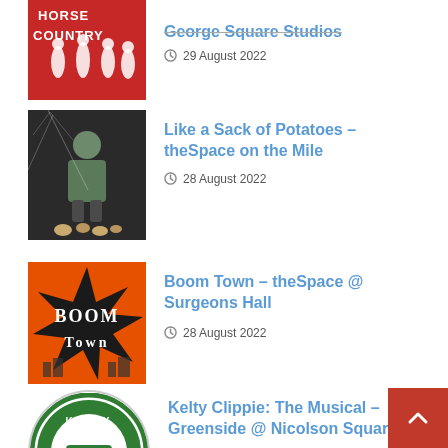[Figure (photo): Horse Country show poster - red background with white silhouettes of people]
George Square Studios
29 August 2022
[Figure (photo): Like a Sack of Potatoes show - man sitting on stage with scattered potatoes]
Like a Sack of Potatoes – theSpace on the Mile
28 August 2022
[Figure (photo): Boom Town show poster - black starburst on orange background with text Boom Town]
Boom Town – theSpace @ Surgeons Hall
28 August 2022
[Figure (logo): Kelty Clippie The Musical logo - green oval with bus illustration]
Kelty Clippie: The Musical – Greenside @ Nicolson Square
27 August 2022